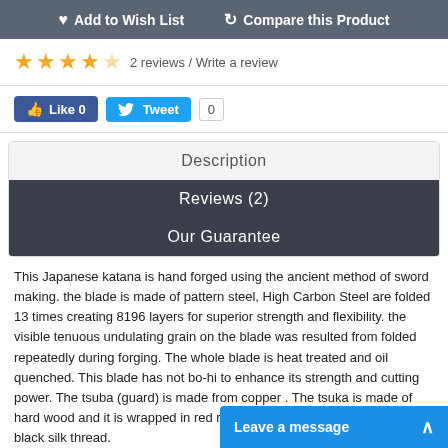Add to Wish List   Compare this Product
★★★★ 2 reviews / Write a review
[Figure (screenshot): Facebook Like button showing 0 likes and Twitter Tweet button with count 0]
Description
Reviews (2)
Our Guarantee
This Japanese katana is hand forged using the ancient method of sword making. the blade is made of pattern steel, High Carbon Steel are folded 13 times creating 8196 layers for superior strength and flexibility. the visible tenuous undulating grain on the blade was resulted from folded repeatedly during forging. The whole blade is heat treated and oil quenched. This blade has not bo-hi to enhance its strength and cutting power. The tsuba (guard) is made from copper . The tsuka is made of hard wood and it is wrapped in red ray skin and the tsuka-ito is premium black silk thread.
Japanese Katana Sw…
Leave a message